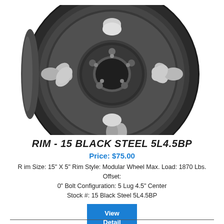[Figure (photo): A black steel modular wheel rim photographed from a slight angle, showing the front face with oval cutouts and a center hub with bolt holes.]
RIM - 15 BLACK STEEL 5L4.5BP
Price: $75.00
R im Size: 15" X 5" Rim Style: Modular Wheel Max. Load: 1870 Lbs. Offset: 0" Bolt Configuration: 5 Lug 4.5" Center
Stock #: 15 Black Steel 5L4.5BP